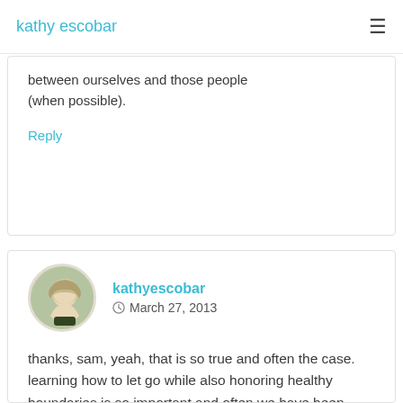kathy escobar
between ourselves and those people (when possible).
Reply
kathyescobar  March 27, 2013
thanks, sam, yeah, that is so true and often the case. learning how to let go while also honoring healthy boundaries is so important and often we have been taught that somehow we are supposed